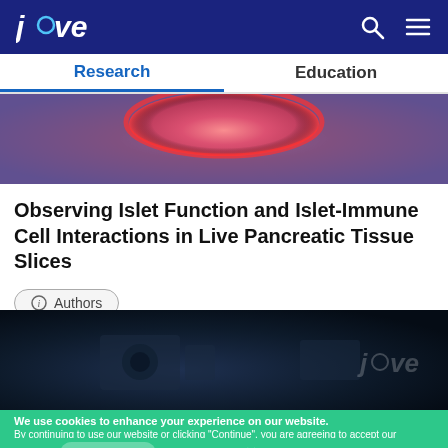jove | Research | Education
[Figure (photo): Close-up photograph of laboratory equipment/biological sample with pink/red circular dish or staining, blurred background with purple and gray tones]
Observing Islet Function and Islet-Immune Cell Interactions in Live Pancreatic Tissue Slices
Authors
[Figure (photo): Dark background image showing scientific/video equipment with JoVE logo watermark in gray on the right side]
We use cookies to enhance your experience on our website. By continuing to use our website or clicking "Continue", you are agreeing to accept our cookies. Continue | Learn more X